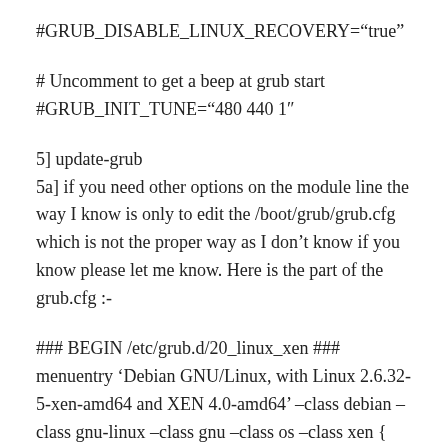#GRUB_DISABLE_LINUX_RECOVERY="true"
# Uncomment to get a beep at grub start
#GRUB_INIT_TUNE="480 440 1"
5] update-grub
5a] if you need other options on the module line the way I know is only to edit the /boot/grub/grub.cfg which is not the proper way as I don't know if you know please let me know. Here is the part of the grub.cfg :-
### BEGIN /etc/grub.d/20_linux_xen ###
menuentry 'Debian GNU/Linux, with Linux 2.6.32-5-xen-amd64 and XEN 4.0-amd64' –class debian –class gnu-linux –class gnu –class os –class xen {
insmod part_msdos